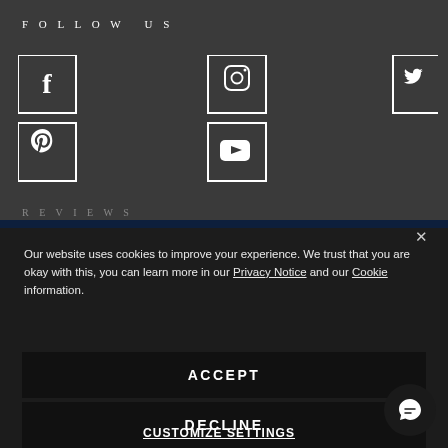FOLLOW US
[Figure (infographic): Social media icons: Facebook, Instagram, Twitter (top row), Pinterest, YouTube (bottom row) — white outlined square icons on dark grey background]
REVIEWS
[Figure (infographic): Trustpilot widget showing 5 blue stars and TrustScore 4.7 with 3,580 reviews]
Our website uses cookies to improve your experience. We trust that you are okay with this, you can learn more in our Privacy Notice and our Cookie information.
ACCEPT
DECLINE
CUSTOMIZE SETTINGS
© 2021 Hugh Rice  ...054 43...